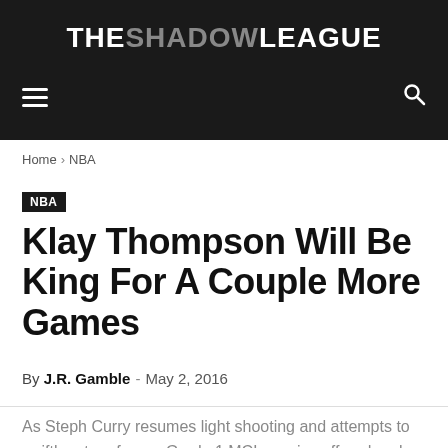THE SHADOW LEAGUE
Home › NBA
NBA
Klay Thompson Will Be King For A Couple More Games
By J.R. Gamble - May 2, 2016
As Steph Curry resumes light shooting and attempts to swiftly return from a Grade 1 MCL sprain suffered early in the